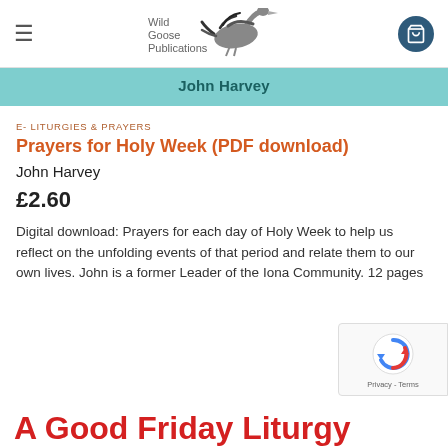Wild Goose Publications
[Figure (screenshot): John Harvey teal banner header]
E- LITURGIES & PRAYERS
Prayers for Holy Week (PDF download)
John Harvey
£2.60
Digital download: Prayers for each day of Holy Week to help us reflect on the unfolding events of that period and relate them to our own lives. John is a former Leader of the Iona Community. 12 pages
A Good Friday Liturgy